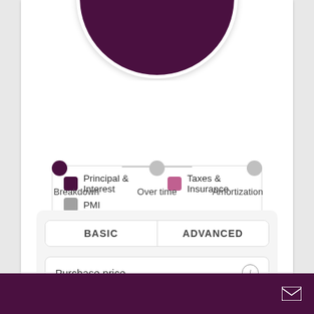[Figure (donut-chart): Partial view of a donut/pie chart showing mortgage payment breakdown. The visible portion shows a large dark purple segment. The top half of the circle is visible, cropped at the top of the page.]
Principal & Interest   Taxes & Insurance   PMI
[Figure (infographic): A three-step tab/progress selector with dots connected by a line. The first dot (Breakdown) is active/filled dark purple. The second dot (Over time) and third dot (Amortization) are gray/inactive.]
BASIC   ADVANCED
Purchase price
$ 425,000